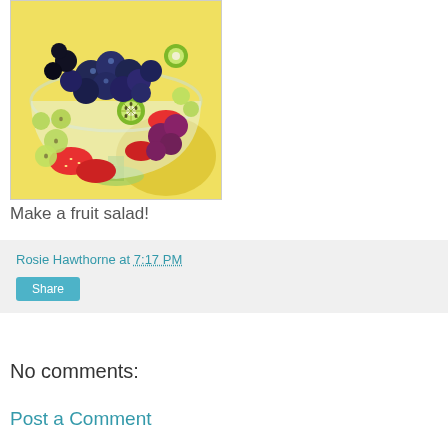[Figure (photo): A glass bowl filled with a colorful fruit salad including blueberries, blackberries, green grapes, strawberries, and kiwi slices on a yellow background with shadow.]
Make a fruit salad!
Rosie Hawthorne at 7:17 PM
Share
No comments:
Post a Comment